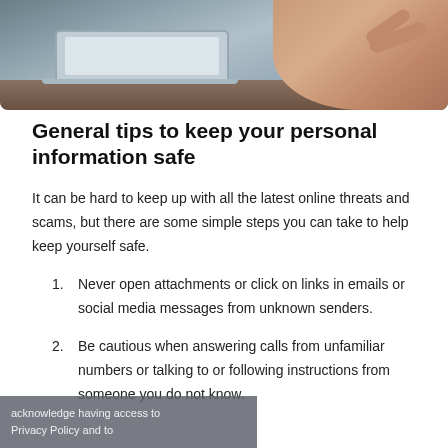[Figure (photo): Person sitting at a desk with a laptop, hand visible, wooden desk surface visible in background.]
General tips to keep your personal information safe
It can be hard to keep up with all the latest online threats and scams, but there are some simple steps you can take to help keep yourself safe.
Never open attachments or click on links in emails or social media messages from unknown senders.
Be cautious when answering calls from unfamiliar numbers or talking to or following instructions from someone you do not know.
acknowledge having access to Privacy Policy and to